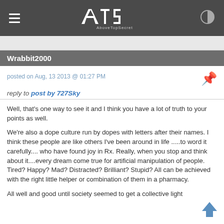ATS AboveTopSecret
Wrabbit2000
posted on Aug, 13 2013 @ 01:27 PM
reply to post by 727Sky
Well, that's one way to see it and I think you have a lot of truth to your points as well.

We're also a dope culture run by dopes with letters after their names. I think these people are like others I've been around in life .....to word it carefully.... who have found joy in Rx. Really, when you stop and think about it....every dream come true for artificial manipulation of people. Tired? Happy? Mad? Distracted? Brilliant? Stupid? All can be achieved with the right little helper or combination of them in a pharmacy.

All well and good until society seemed to get a collective light